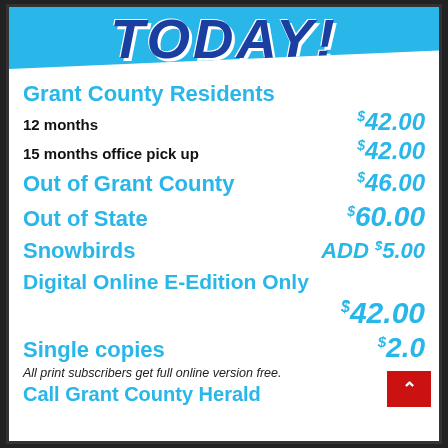TODAY!
Grant County Residents
12 months   $42.00
15 months office pick up   $42.00
Out of Grant County   $46.00
Out of State   $60.00
Snowbirds   ADD $5.00
Digital Online E-Edition Only
$42.00
Single copies   $2.00
All print subscribers get full online version free.